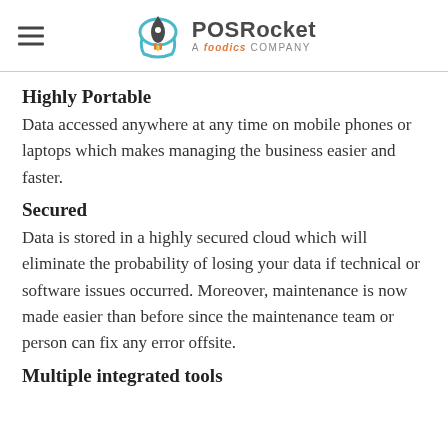POSRocket a FOODICS company
Highly Portable
Data accessed anywhere at any time on mobile phones or laptops which makes managing the business easier and faster.
Secured
Data is stored in a highly secured cloud which will eliminate the probability of losing your data if technical or software issues occurred. Moreover, maintenance is now made easier than before since the maintenance team or person can fix any error offsite.
Multiple integrated tools